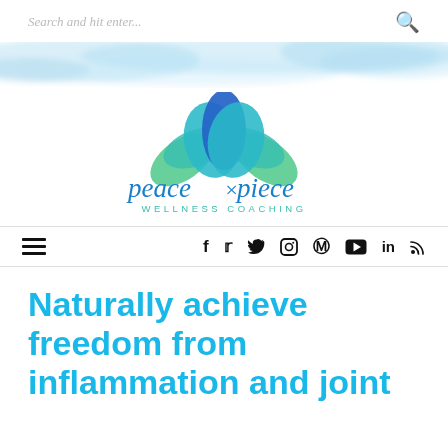Search and hit enter...
[Figure (illustration): Watercolor blue wash decorative banner]
[Figure (logo): Peace x Piece Wellness Coaching logo with lotus flower made of blue, teal, and green overlapping petals, and cursive 'peace x piece' text with 'WELLNESS COACHING' below in teal sans-serif]
Navigation bar with hamburger menu icon and social media icons: f, Twitter, Instagram, Pinterest, YouTube, LinkedIn, RSS
Naturally achieve freedom from inflammation and joint